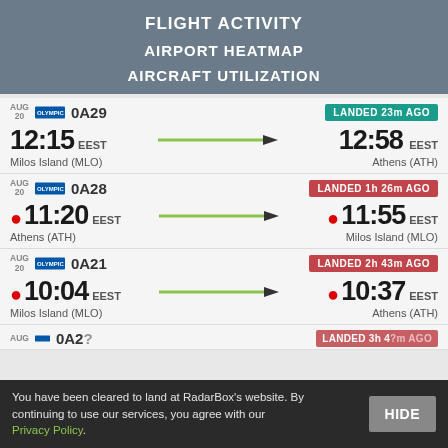FLIGHT ACTIVITY
AIRPORT HEATMAP
AIRCRAFT UTILIZATION
| Date | Airline | Flight | Status | Dep Time | Dep Zone | Route | Arr Time | Arr Zone | Dep Airport | Arr Airport |
| --- | --- | --- | --- | --- | --- | --- | --- | --- | --- | --- |
| AUG 20 | Olympic | 0A29 | LANDED 23m AGO | 12:15 | EEST | → | 12:58 | EEST | Milos Island (MLO) | Athens (ATH) |
| AUG 20 | Olympic | 0A28 | LANDED 1h 26m AGO | 11:20 | EEST | → | 11:55 | EEST | Athens (ATH) | Milos Island (MLO) |
| AUG 20 | Olympic | 0A21 | LANDED 2h 43m AGO | 10:04 | EEST | → | 10:37 | EEST | Milos Island (MLO) | Athens (ATH) |
| AUG | Olympic | 0A2? | LANDED 3h 4?m AGO |  |  |  |  |  |  |  |
You have been cleared to land at RadarBox's website. By continuing to use our services, you agree with our Privacy Policy.